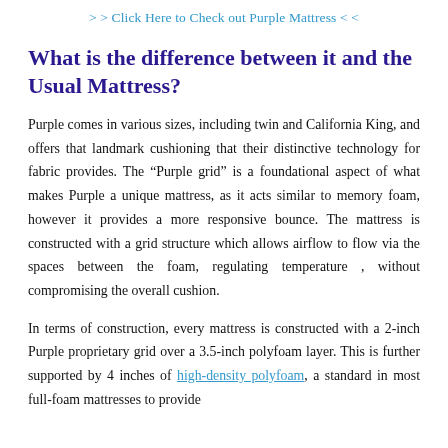> > Click Here to Check out Purple Mattress < <
What is the difference between it and the Usual Mattress?
Purple comes in various sizes, including twin and California King, and offers that landmark cushioning that their distinctive technology for fabric provides. The “Purple grid” is a foundational aspect of what makes Purple a unique mattress, as it acts similar to memory foam, however it provides a more responsive bounce. The mattress is constructed with a grid structure which allows airflow to flow via the spaces between the foam, regulating temperature , without compromising the overall cushion.
In terms of construction, every mattress is constructed with a 2-inch Purple proprietary grid over a 3.5-inch polyfoam layer. This is further supported by 4 inches of high-density polyfoam, a standard in most full-foam mattresses to provide